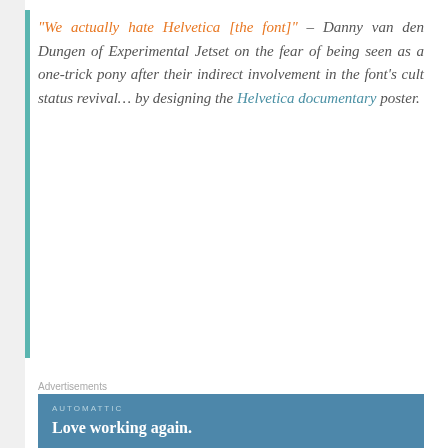"We actually hate Helvetica [the font]" – Danny van den Dungen of Experimental Jetset on the fear of being seen as a one-trick pony after their indirect involvement in the font's cult status revival… by designing the Helvetica documentary poster.
[Figure (screenshot): Automattic advertisement banner: blue background with 'AUTOMATTIC' in small caps and 'Love working again.' tagline]
[Figure (screenshot): Pressable advertisement banner: blue background with 'Need Speed? Get P Pressable' text and person flying]
Jake Barton: